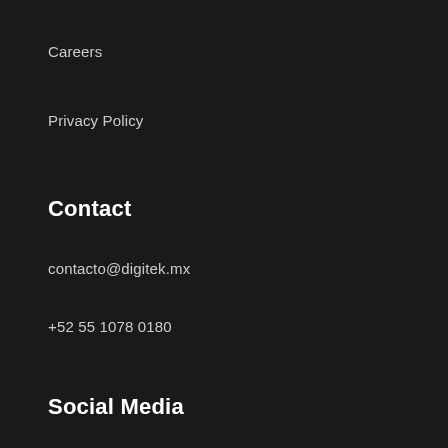Careers
Privacy Policy
Contact
contacto@digitek.mx
+52 55 1078 0180
Social Media
Facebook
Instagram